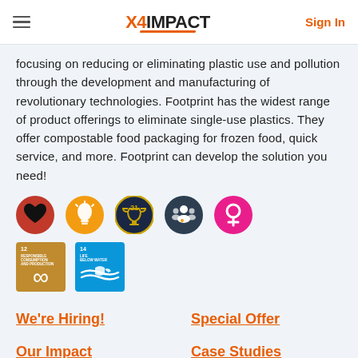X4IMPACT | Sign In
focusing on reducing or eliminating plastic use and pollution through the development and manufacturing of revolutionary technologies. Footprint has the widest range of product offerings to eliminate single-use plastics. They offer compostable food packaging for frozen food, quick service, and more. Footprint can develop the solution you need!
[Figure (illustration): Row of 5 circular icons: dark red heart icon, orange lightbulb icon, dark blue trophy/award with 21 icon, dark blue people/group icon, pink/magenta female symbol icon]
[Figure (illustration): Row of 2 SDG square icons: SDG 12 Responsible Consumption and Production (olive/gold, infinity symbol), SDG 14 Life Below Water (blue, fish/waves symbol)]
We're Hiring!
Special Offer
Our Impact
Case Studies
Recommend